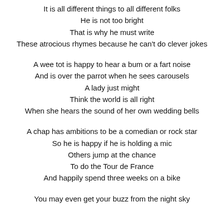It is all different things to all different folks
He is not too bright
That is why he must write
These atrocious rhymes because he can't do clever jokes
A wee tot is happy to hear a bum or a fart noise
And is over the parrot when he sees carousels
A lady just might
Think the world is all right
When she hears the sound of her own wedding bells
A chap has ambitions to be a comedian or rock star
So he is happy if he is holding a mic
Others jump at the chance
To do the Tour de France
And happily spend three weeks on a bike
You may even get your buzz from the night sky